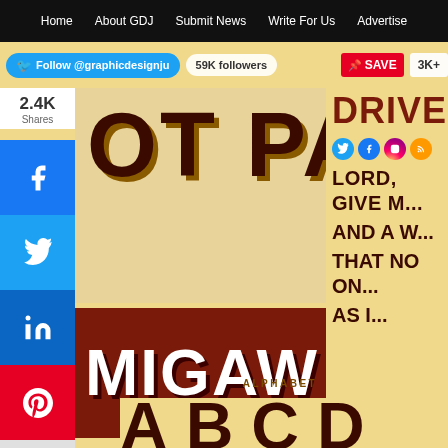Home | About GDJ | Submit News | Write For Us | Advertise
Follow @graphicdesignju  59K followers  SAVE  3K+
2.4K Shares
[Figure (screenshot): Large decorative font text reading 'OT PAY' on a tan/cream background, brown block letters with gold shadow - part of a Filipino jeepney sign font display]
[Figure (screenshot): Large decorative font text reading 'MIGAW NG' on a dark brown background with white/gold lettering - part of a Filipino jeepney sign font display]
[Figure (screenshot): Right side preview showing 'DRIVER' text and 'LORD, GIVE M... AND A W... THAT NO ON... AS I...' on yellow/tan background - jeepney prayer text sample]
ALPHABET
A  B  C  D